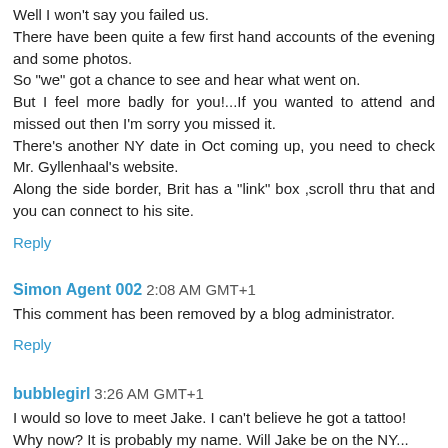Well I won't say you failed us.
There have been quite a few first hand accounts of the evening and some photos.
So "we" got a chance to see and hear what went on.
But I feel more badly for you!...If you wanted to attend and missed out then I'm sorry you missed it.
There's another NY date in Oct coming up, you need to check Mr. Gyllenhaal's website.
Along the side border, Brit has a "link" box ,scroll thru that and you can connect to his site.
Reply
Simon Agent 002  2:08 AM GMT+1
This comment has been removed by a blog administrator.
Reply
bubblegirl  3:26 AM GMT+1
I would so love to meet Jake. I can't believe he got a tattoo!
Why now? It is probably my name. Will Jake be on the NY...